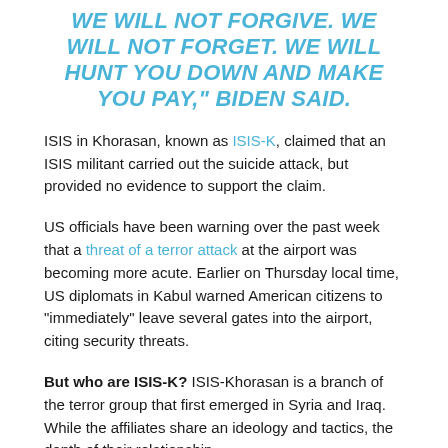WE WILL NOT FORGIVE. WE WILL NOT FORGET. WE WILL HUNT YOU DOWN AND MAKE YOU PAY," BIDEN SAID.
ISIS in Khorasan, known as ISIS-K, claimed that an ISIS militant carried out the suicide attack, but provided no evidence to support the claim.
US officials have been warning over the past week that a threat of a terror attack at the airport was becoming more acute. Earlier on Thursday local time, US diplomats in Kabul warned American citizens to “immediately” leave several gates into the airport, citing security threats.
But who are ISIS-K? ISIS-Khorasan is a branch of the terror group that first emerged in Syria and Iraq. While the affiliates share an ideology and tactics, the depth of their relationship